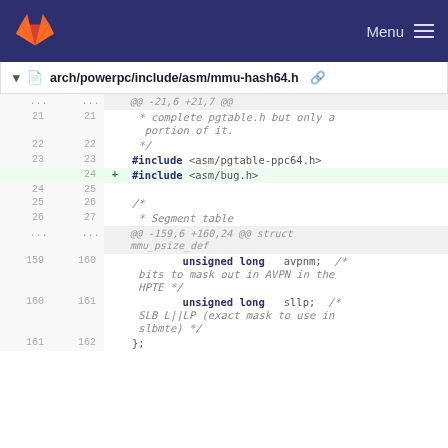Menu
arch/powerpc/include/asm/mmu-hash64.h
@@ -21,6 +21,7 @@
21 21  * complete pgtable.h but only a portion of it.
22 22   */
23 23  #include <asm/pgtable-ppc64.h>
   24 + #include <asm/bug.h>
24 25
25 26  /*
26 27   * Segment table
... ...  @@ -159,6 +160,24 @@ struct mmu_psize_def
159 160       unsigned long   avpnm;   /* bits to mask out in AVPN in the HPTE */
160 161       unsigned long   sllp;    /* SLB L||LP (exact mask to use in slbmte) */
161 162  };